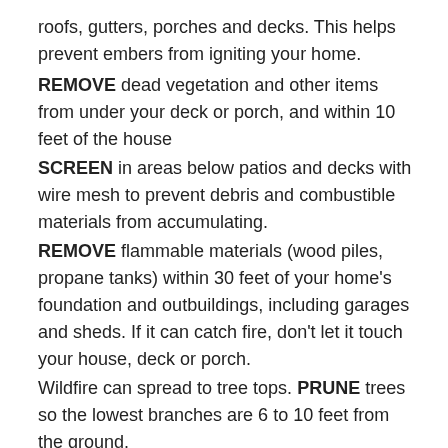roofs, gutters, porches and decks. This helps prevent embers from igniting your home.
REMOVE dead vegetation and other items from under your deck or porch, and within 10 feet of the house
SCREEN in areas below patios and decks with wire mesh to prevent debris and combustible materials from accumulating.
REMOVE flammable materials (wood piles, propane tanks) within 30 feet of your home's foundation and outbuildings, including garages and sheds. If it can catch fire, don't let it touch your house, deck or porch.
Wildfire can spread to tree tops. PRUNE trees so the lowest branches are 6 to 10 feet from the ground.
KEEP your lawn hydrated and maintained. If it is brown, cut it down to reduce fire intensity. Dry grass